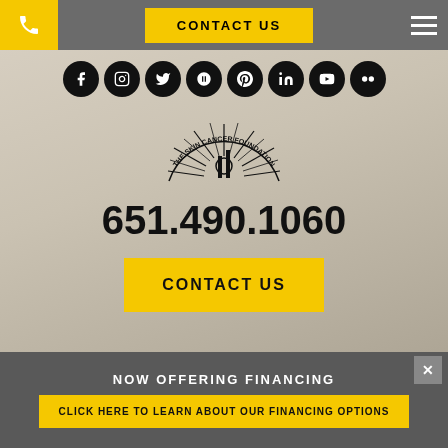CONTACT US
[Figure (logo): The Skin Cancer Foundation circular logo with radiating lines]
651.490.1060
CONTACT US
NOW OFFERING FINANCING
CLICK HERE TO LEARN ABOUT OUR FINANCING OPTIONS